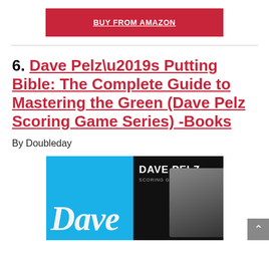BUY FROM AMAZON
6. Dave Pelz’s Putting Bible: The Complete Guide to Mastering the Green (Dave Pelz Scoring Game Series) -Books
By Doubleday
[Figure (photo): Book cover of Dave Pelz Scoring Game Series showing the word 'Dave' in large italic serif font on a blue background, with Dave Pelz's name and photo on a black background.]